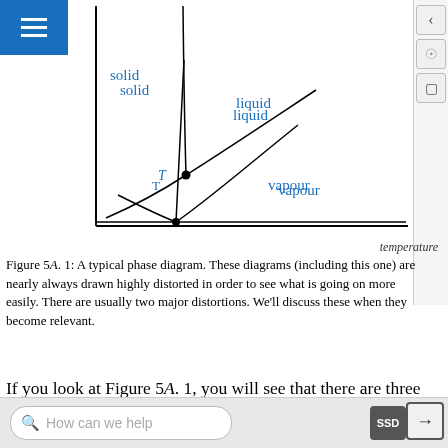[Figure (continuous-plot): A typical phase diagram showing three regions (solid, liquid, vapour) separated by three curved/straight lines meeting at a triple point T. The y-axis is pressure (unlabeled), the x-axis is temperature. The solid region is upper-left, liquid is upper-right, vapour is lower-right. The triple point T is marked where the three lines converge.]
Figure 5A. 1: A typical phase diagram. These diagrams (including this one) are nearly always drawn highly distorted in order to see what is going on more easily. There are usually two major distortions. We'll discuss these when they become relevant.
If you look at Figure 5A. 1, you will see that there are three lines, three areas marked "solid", "liquid" and "vapour", and two special points marked "C" and "T".